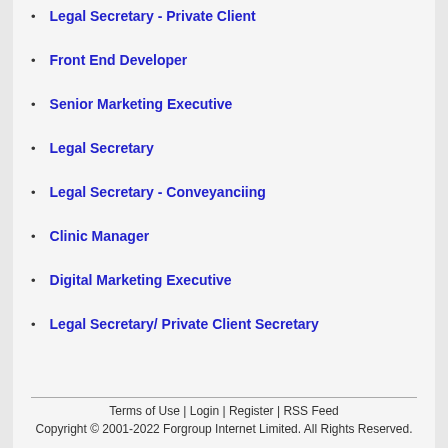Legal Secretary - Private Client
Front End Developer
Senior Marketing Executive
Legal Secretary
Legal Secretary - Conveyanciing
Clinic Manager
Digital Marketing Executive
Legal Secretary/ Private Client Secretary
Terms of Use | Login | Register | RSS Feed
Copyright © 2001-2022 Forgroup Internet Limited. All Rights Reserved.